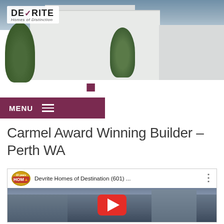[Figure (photo): Hero banner showing modern white multi-storey house with trees, slideshow navigation dots, and Devrite logo overlay]
MENU
Carmel Award Winning Builder – Perth WA
[Figure (screenshot): YouTube video thumbnail for 'Devrite Homes of Destination (601) ...' showing a house exterior with a red play button]